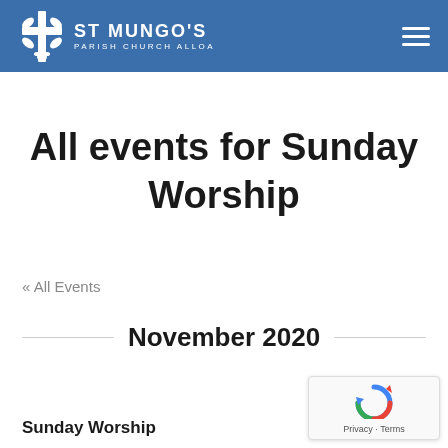St Mungo's Parish Church Alloa
All events for Sunday Worship
« All Events
November 2020
Sunday Worship